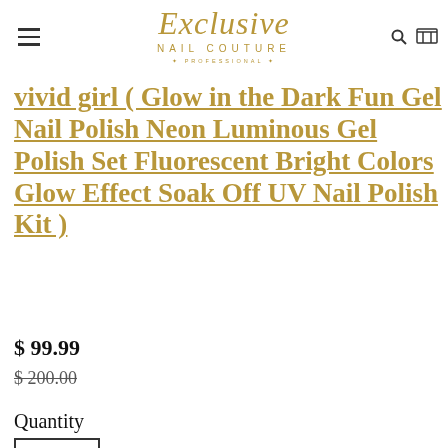Exclusive Nail Couture * PROFESSIONAL *
vivid girl ( Glow in the Dark Fun Gel Nail Polish Neon Luminous Gel Polish Set Fluorescent Bright Colors Glow Effect Soak Off UV Nail Polish Kit )
$ 99.99
$ 200.00
Quantity